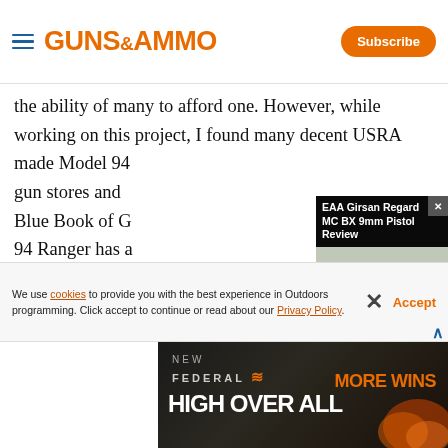GUNS & AMMO | Subscribe
the ability of many to afford one. However, while working on this project, I found many decent USRA made Model 94 gun stores and Blue Book of G 94 Ranger has a amount when c variations. Fort
[Figure (screenshot): EAA Girsan Regard MC BX 9mm Pistol Review - video player popup showing a pistol on a shooting range, with controls showing 00:00 / 02:40]
saving because it keeps a customer's money alive in
We use cookies to provide you with the best experience in Outdoors programming. Click accept to continue or read about our Privacy Policy.
Advertisement
[Figure (photo): Federal Ammunition advertisement: NEW FEDERAL logo with HIGH OVERALL text and MORE WINS text on dark background]